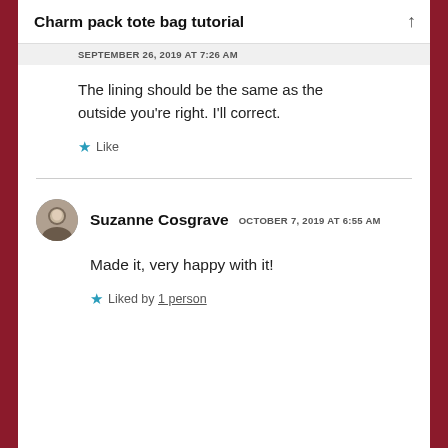Charm pack tote bag tutorial
SEPTEMBER 26, 2019 AT 7:26 AM
The lining should be the same as the outside you’re right. I’ll correct.
Like
Suzanne Cosgrave  OCTOBER 7, 2019 AT 6:55 AM
Made it, very happy with it!
Liked by 1 person